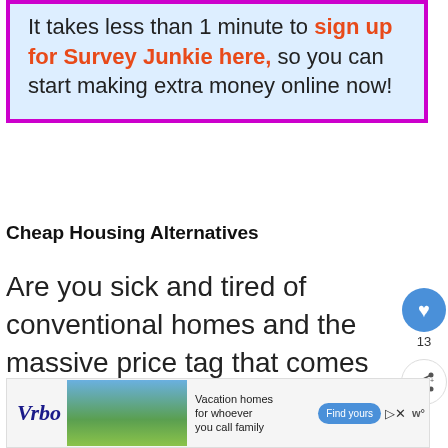It takes less than 1 minute to sign up for Survey Junkie here, so you can start making extra money online now!
Cheap Housing Alternatives
Are you sick and tired of conventional homes and the massive price tag that comes with them?
[Figure (screenshot): Vrbo advertisement banner showing vacation homes with mountain background, 'Vacation homes for whoever you call family' tagline and 'Find yours' button]